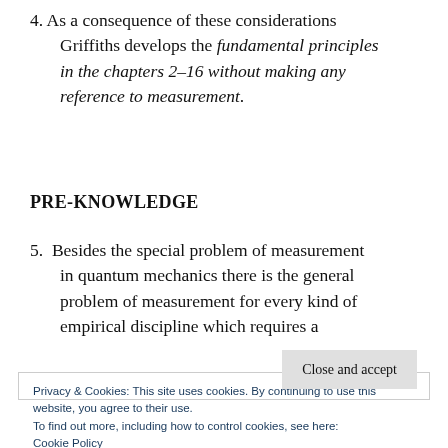4. As a consequence of these considerations Griffiths develops the fundamental principles in the chapters 2-16 without making any reference to measurement.
PRE-KNOWLEDGE
5. Besides the special problem of measurement in quantum mechanics there is the general problem of measurement for every kind of empirical discipline which requires a
Privacy & Cookies: This site uses cookies. By continuing to use this website, you agree to their use.
To find out more, including how to control cookies, see here: Cookie Policy
Close and accept